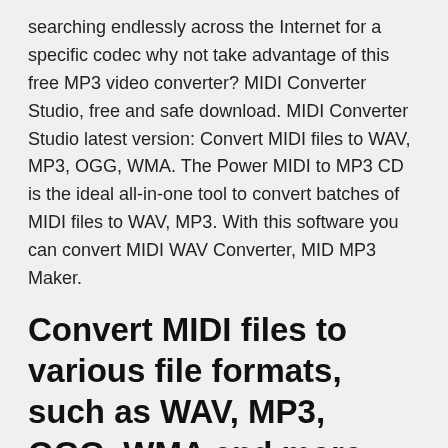searching endlessly across the Internet for a specific codec why not take advantage of this free MP3 video converter? MIDI Converter Studio, free and safe download. MIDI Converter Studio latest version: Convert MIDI files to WAV, MP3, OGG, WMA. The Power MIDI to MP3 CD is the ideal all-in-one tool to convert batches of MIDI files to WAV, MP3. With this software you can convert MIDI WAV Converter, MID MP3 Maker.
Convert MIDI files to various file formats, such as WAV, MP3, OGG, WMA and more, with the help of
MIDI to MP3 Online Converter. With our Midi to Mp3 Converter you can convert Midi files to Mp3 audio online, just by using a web browser. Our service includes  From:
DirectFree Downloads Fast MIDI to MP3 Converter